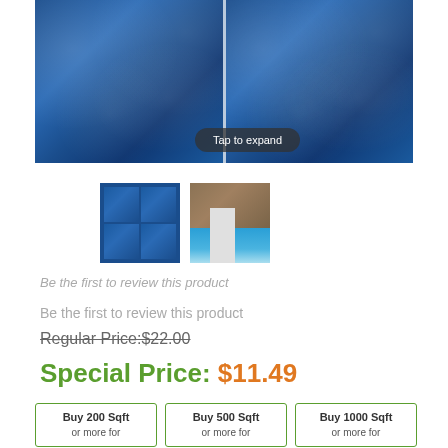[Figure (photo): Two side-by-side close-up photos of blue pool tiles with a tap-to-expand overlay, shown as a combined main product image]
[Figure (photo): Thumbnail 1: 2x2 grid of blue pool tiles]
[Figure (photo): Thumbnail 2: pool with blue tile waterline installed]
Be the first to review this product
Be the first to review this product
Regular Price:$22.00
Special Price: $11.49
Buy 200 Sqft or more for
Buy 500 Sqft or more for
Buy 1000 Sqft or more for